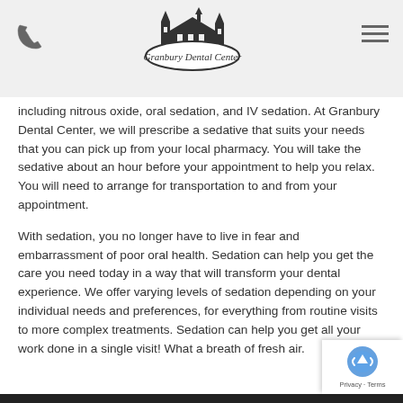Granbury Dental Center
including nitrous oxide, oral sedation, and IV sedation. At Granbury Dental Center, we will prescribe a sedative that suits your needs that you can pick up from your local pharmacy. You will take the sedative about an hour before your appointment to help you relax. You will need to arrange for transportation to and from your appointment.
With sedation, you no longer have to live in fear and embarrassment of poor oral health. Sedation can help you get the care you need today in a way that will transform your dental experience. We offer varying levels of sedation depending on your individual needs and preferences, for everything from routine visits to more complex treatments. Sedation can help you get all your work done in a single visit! What a breath of fresh air.